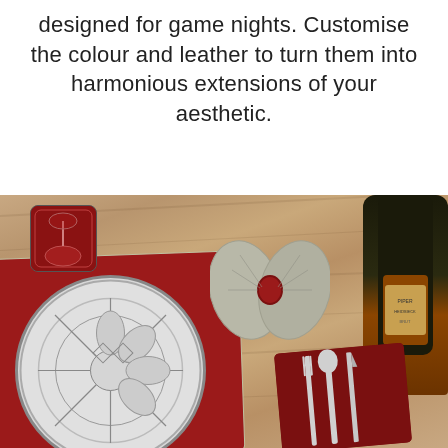designed for game nights. Customise the colour and leather to turn them into harmonious extensions of your aesthetic.
[Figure (photo): A styled table setting photographed from above on a wooden surface, featuring a red leather placemat with a decorative plate, a folded grey napkin with a red leather napkin ring, a red leather coaster with a wine glass, a dark wine bottle (Piper-Heidsieck), and cutlery in a red leather holder.]